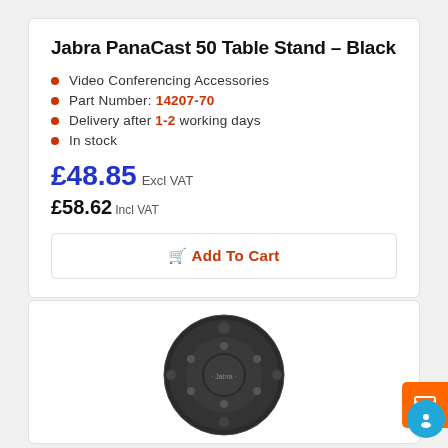Jabra PanaCast 50 Table Stand - Black
Video Conferencing Accessories
Part Number: 14207-70
Delivery after 1-2 working days
In stock
£48.85 Excl VAT
£58.62 Incl VAT
Add To Cart
[Figure (photo): Dark circular Jabra device/remote control with multiple buttons arranged in a ring pattern, viewed from above]